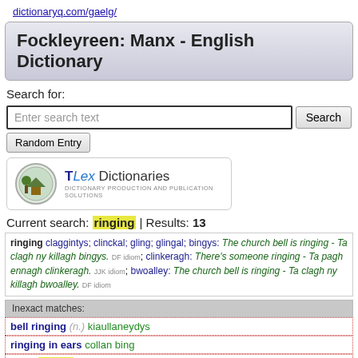dictionaryq.com/gaelg/
Fockleyreen: Manx - English Dictionary
Search for:
Enter search text [input] Search [button] Random Entry [button]
[Figure (logo): TLex Dictionaries logo with circular illustration of house/tree scene and subtitle: DICTIONARY PRODUCTION AND PUBLICATION SOLUTIONS]
Current search: ringing | Results: 13
ringing claggintys; clinckal; gling; glingal; bingys: The church bell is ringing - Ta clagh ny killagh bingys. DF idiom; clinkeragh: There's someone ringing - Ta pagh ennagh clinkeragh. JJK idiom; bwoalley: The church bell is ringing - Ta clagh ny killagh bwoalley. DF idiom
Inexact matches:
bell ringing (n.) kiaullaneydys
ringing in ears collan bing
gling ringing
collan bing ringing in ears